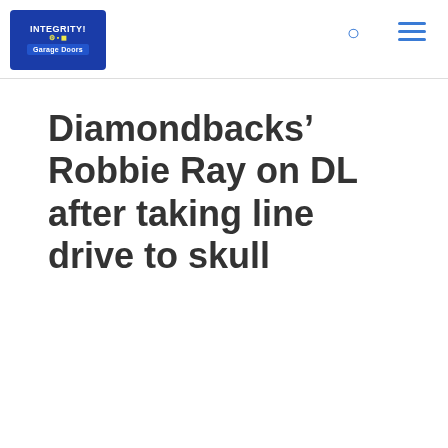[Figure (logo): Integrity Garage Doors logo — blue background with white and yellow text]
Diamondbacks’ Robbie Ray on DL after taking line drive to skull